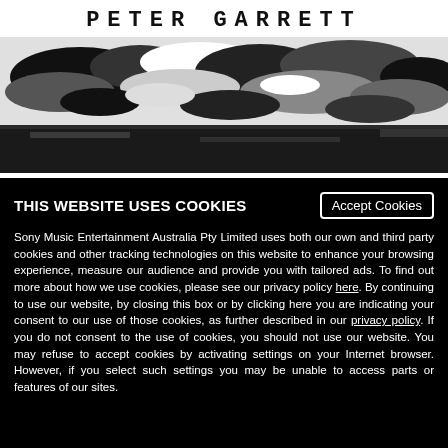PETER GARRETT
[Figure (photo): Black and white aerial or landscape photo showing clouds and dark terrain below, cropped banner style]
THIS WEBSITE USES COOKIES
Sony Music Entertainment Australia Pty Limited uses both our own and third party cookies and other tracking technologies on this website to enhance your browsing experience, measure our audience and provide you with tailored ads. To find out more about how we use cookies, please see our privacy policy here. By continuing to use our website, by closing this box or by clicking here you are indicating your consent to our use of those cookies, as further described in our privacy policy. If you do not consent to the use of cookies, you should not use our website. You may refuse to accept cookies by activating settings on your Internet browser. However, if you select such settings you may be unable to access parts or features of our sites.